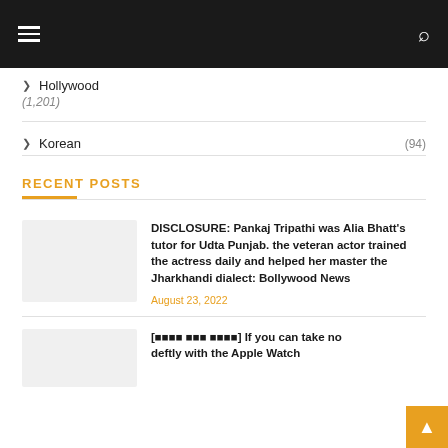Navigation header bar with hamburger menu and search icon
Hollywood (1,201)
Korean (94)
RECENT POSTS
DISCLOSURE: Pankaj Tripathi was Alia Bhatt's tutor for Udta Punjab. the veteran actor trained the actress daily and helped her master the Jharkhandi dialect: Bollywood News
August 23, 2022
[■■■■ ■■■ ■■■■] If you can take notes deftly with the Apple Watch